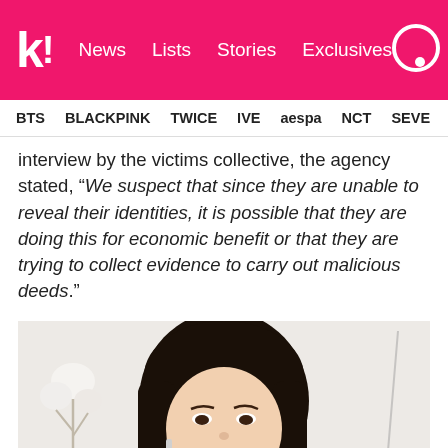k! News Lists Stories Exclusives
BTS BLACKPINK TWICE IVE aespa NCT SEVE
interview by the victims collective, the agency stated, “We suspect that since they are unable to reveal their identities, it is possible that they are doing this for economic benefit or that they are trying to collect evidence to carry out malicious deeds.”
[Figure (photo): Portrait photo of a young Asian woman with long dark hair, wearing dangling silver earrings, smiling softly, with a light background and cotton flowers visible.]